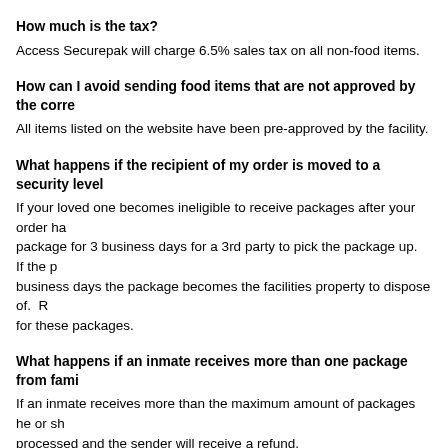How much is the tax?
Access Securepak will charge 6.5% sales tax on all non-food items.
How can I avoid sending food items that are not approved by the corre
All items listed on the website have been pre-approved by the facility.
What happens if the recipient of my order is moved to a security level
If your loved one becomes ineligible to receive packages after your order ha package for 3 business days for a 3rd party to pick the package up.  If the p business days the package becomes the facilities property to dispose of.  R for these packages.
What happens if an inmate receives more than one package from fami
If an inmate receives more than the maximum amount of packages he or sh processed and the sender will receive a refund.
What if something is broken, damaged or missing from my order?
We will issue a refund for or replace broken, damaged, or missing products reports of discrepancies from inmates' families or friends.